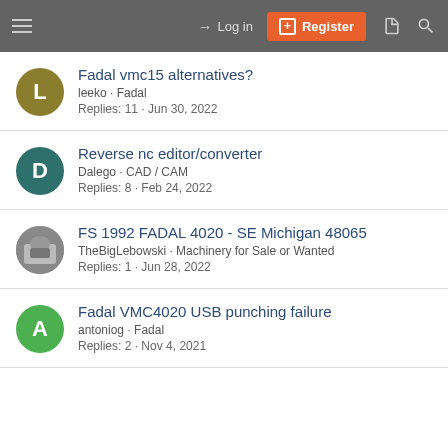Log in | Register
Fadal vmc15 alternatives? — leeko · Fadal — Replies: 11 · Jun 30, 2022
Reverse nc editor/converter — Dalego · CAD / CAM — Replies: 8 · Feb 24, 2022
FS 1992 FADAL 4020 - SE Michigan 48065 — TheBigLebowski · Machinery for Sale or Wanted — Replies: 1 · Jun 28, 2022
Fadal VMC4020 USB punching failure — antoniog · Fadal — Replies: 2 · Nov 4, 2021